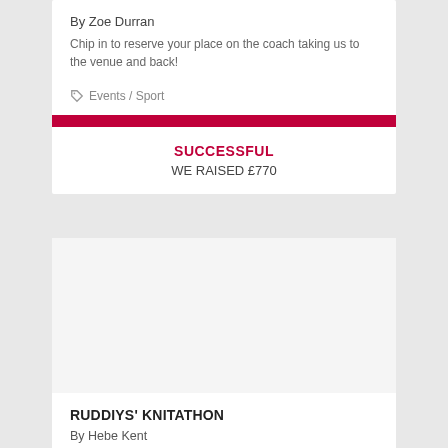By Zoe Durran
Chip in to reserve your place on the coach taking us to the venue and back!
Events / Sport
SUCCESSFUL
WE RAISED £770
[Figure (photo): White placeholder image area for a campaign]
RUDDIYS' KNITATHON
By Hebe Kent
Knitting for Intensive Care Units and hats for the homeless - 12 hour knitting craziness